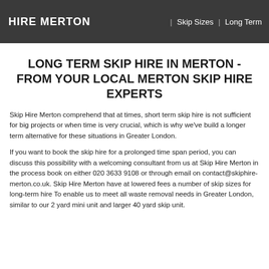HIRE MERTON | Skip Sizes | Long Term
LONG TERM SKIP HIRE IN MERTON - FROM YOUR LOCAL MERTON SKIP HIRE EXPERTS
Skip Hire Merton comprehend that at times, short term skip hire is not sufficient for big projects or when time is very crucial, which is why we've build a longer term alternative for these situations in Greater London.
If you want to book the skip hire for a prolonged time span period, you can discuss this possibility with a welcoming consultant from us at Skip Hire Merton in the process book on either 020 3633 9108 or through email on contact@skiphire-merton.co.uk. Skip Hire Merton have at lowered fees a number of skip sizes for long-term hire To enable us to meet all waste removal needs in Greater London, similar to our 2 yard mini unit and larger 40 yard skip unit.